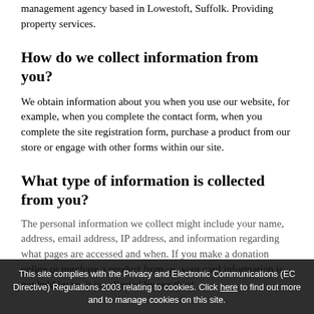management agency based in Lowestoft, Suffolk. Providing property services.
How do we collect information from you?
We obtain information about you when you use our website, for example, when you complete the contact form, when you complete the site registration form, purchase a product from our store or engage with other forms within our site.
What type of information is collected from you?
The personal information we collect might include your name, address, email address, IP address, and information regarding what pages are accessed and when. If you make a donation online or purchase a product from us, your card information is not held by us, it is collected by our third
This site complies with the Privacy and Electronic Communications (EC Directive) Regulations 2003 relating to cookies. Click here to find out more and to manage cookies on this site.